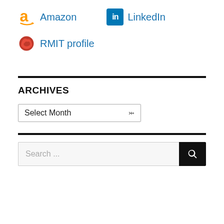Amazon
LinkedIn
RMIT profile
ARCHIVES
Select Month
Search ...